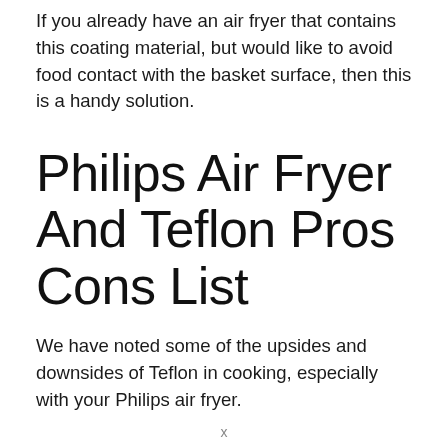If you already have an air fryer that contains this coating material, but would like to avoid food contact with the basket surface, then this is a handy solution.
Philips Air Fryer And Teflon Pros Cons List
We have noted some of the upsides and downsides of Teflon in cooking, especially with your Philips air fryer.
Pros of a Philips Air Fryer